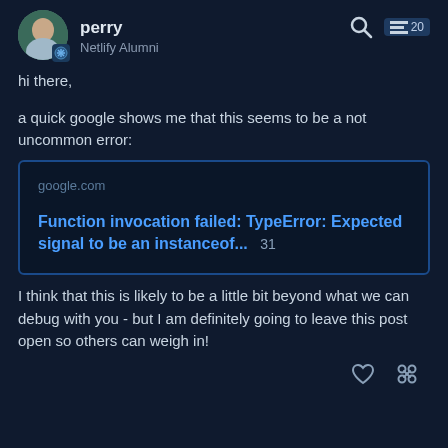perry — Netlify Alumni
hi there,
a quick google shows me that this seems to be a not uncommon error:
[Figure (screenshot): Link preview card showing google.com domain and title: Function invocation failed: TypeError: Expected signal to be an instanceof... 31]
I think that this is likely to be a little bit beyond what we can debug with you - but I am definitely going to leave this post open so others can weigh in!